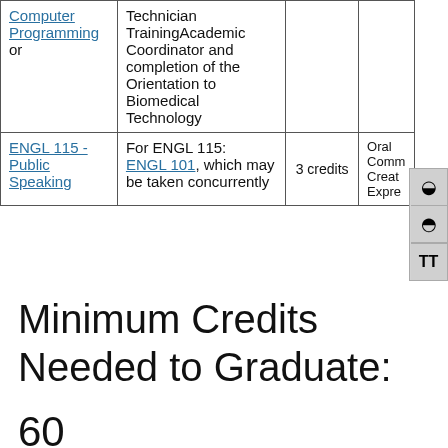| Course | Prerequisites | Credits | Competency |
| --- | --- | --- | --- |
| Computer Programming or | Technician TrainingAcademic Coordinator and completion of the Orientation to Biomedical Technology |  |  |
| ENGL 115 - Public Speaking | For ENGL 115: ENGL 101, which may be taken concurrently | 3 credits | Oral Comm Creative Expre... |
Minimum Credits Needed to Graduate:
60